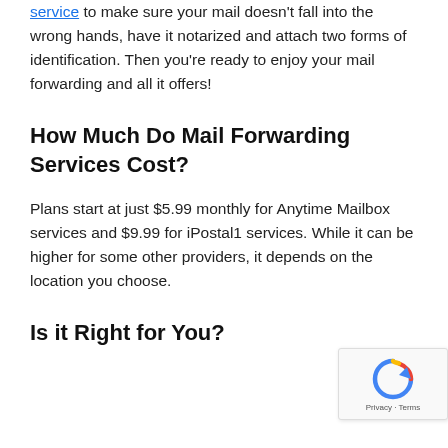service to make sure your mail doesn't fall into the wrong hands, have it notarized and attach two forms of identification. Then you're ready to enjoy your mail forwarding and all it offers!
How Much Do Mail Forwarding Services Cost?
Plans start at just $5.99 monthly for Anytime Mailbox services and $9.99 for iPostal1 services. While it can be higher for some other providers, it depends on the location you choose.
Is it Right for You?